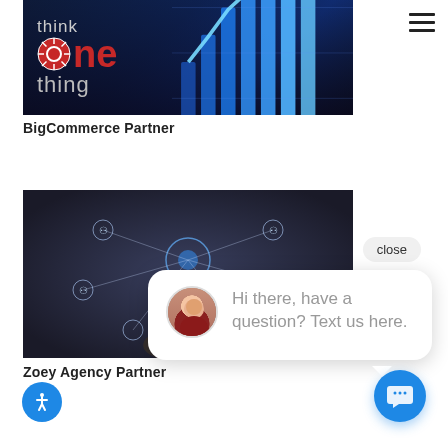[Figure (photo): Think One Thing logo on dark blue technology background with chart lines and a person's hand]
BigCommerce Partner
[Figure (photo): Person touching digital network interface with connected people icons on dark background, Zoey Agency Partner image]
Zoey Agency Partner
close
Hi there, have a question? Text us here.